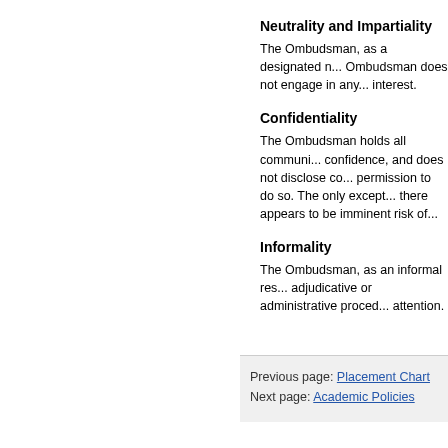Neutrality and Impartiality
The Ombudsman, as a designated n... Ombudsman does not engage in any... interest.
Confidentiality
The Ombudsman holds all communi... confidence, and does not disclose co... permission to do so. The only except... there appears to be imminent risk of...
Informality
The Ombudsman, as an informal res... adjudicative or administrative proced... attention.
Previous page: Placement Chart
Next page: Academic Policies